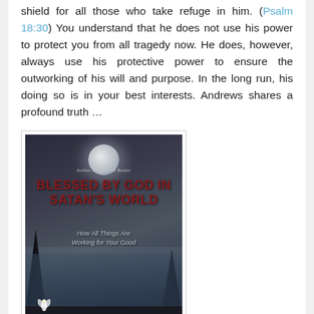shield for all those who take refuge in him. (Psalm 18:30) You understand that he does not use his power to protect you from all tragedy now. He does, however, always use his protective power to ensure the outworking of his will and purpose. In the long run, his doing so is in your best interests. Andrews shares a profound truth …
[Figure (illustration): Book cover of 'Blessed by God in Satan's World: How All Things Are Working for Your Good' by Edward D. Andrews. Dark moody cover with moon, misty water, silhouetted trees, rocks, and a white flower. Title in bold dark red text, author name in red at bottom.]